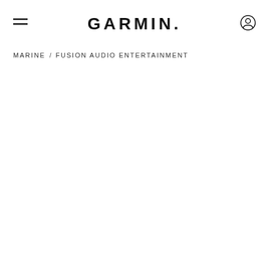GARMIN.
MARINE / FUSION AUDIO ENTERTAINMENT